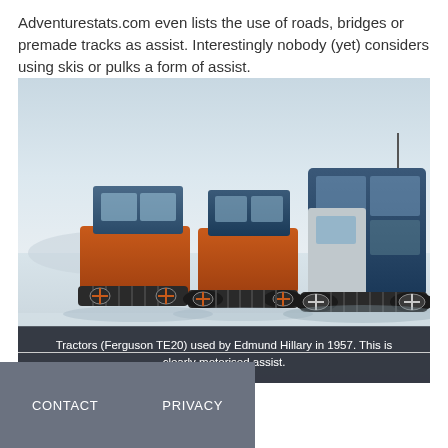Adventurestats.com even lists the use of roads, bridges or premade tracks as assist. Interestingly nobody (yet) considers using skis or pulks a form of assist.
[Figure (photo): Black and white/vintage photo of Ferguson TE20 tractors with tracked wheels and blue cab structures on a snowy Antarctic landscape, used by Edmund Hillary in 1957.]
Tractors (Ferguson TE20) used by Edmund Hillary in 1957. This is clearly motorised assist.
CONTACT   PRIVACY